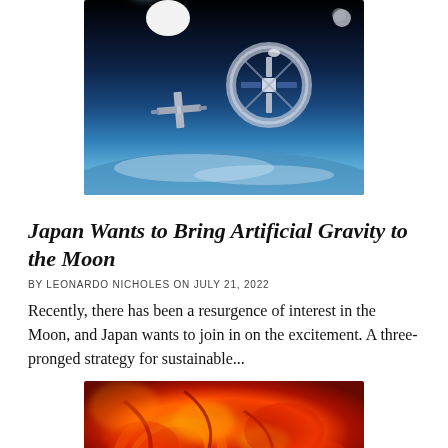[Figure (photo): Space station or spacecraft orbiting Earth with the Sun shining brightly in the background, against a dark space backdrop with Earth's curved horizon below.]
Japan Wants to Bring Artificial Gravity to the Moon
BY LEONARDO NICHOLES ON JULY 21, 2022
Recently, there has been a resurgence of interest in the Moon, and Japan wants to join in on the excitement. A three-pronged strategy for sustainable...
[Figure (photo): Close-up image of the Sun's surface showing intense red and orange solar activity, flares, and plasma loops.]